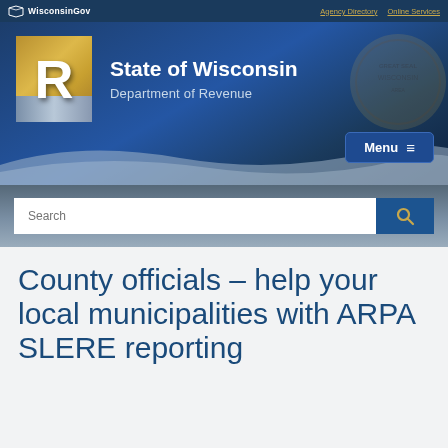WisconsinGov | Agency Directory | Online Services
[Figure (logo): State of Wisconsin Department of Revenue header banner with large R logo, gold and silver block, state seal watermark, and wavy silver design element]
State of Wisconsin
Department of Revenue
Menu
Search
County officials – help your local municipalities with ARPA SLERE reporting